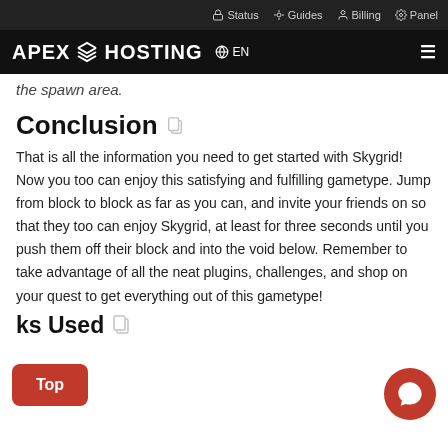Status  Guides  Billing  Panel
APEX HOSTING  EN
the spawn area.
Conclusion
That is all the information you need to get started with Skygrid! Now you too can enjoy this satisfying and fulfilling gametype. Jump from block to block as far as you can, and invite your friends on so that they too can enjoy Skygrid, at least for three seconds until you push them off their block and into the void below. Remember to take advantage of all the neat plugins, challenges, and shop on your quest to get everything out of this gametype!
ks Used